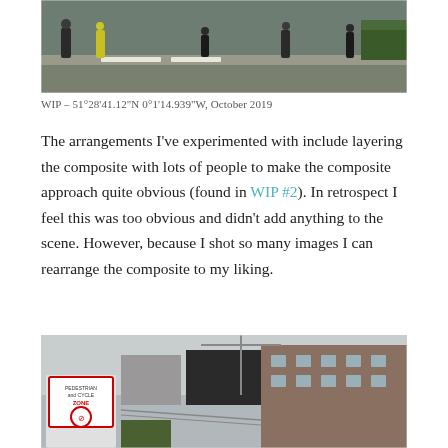[Figure (photo): Street-level photograph showing pedestrians walking on a pavement/sidewalk area, with road markings visible on the ground.]
WIP – 51°28'41.12"N 0°1'14.939"W, October 2019
The arrangements I've experimented with include layering the composite with lots of people to make the composite approach quite obvious (found in WIP #2). In retrospect I feel this was too obvious and didn't add anything to the scene. However, because I shot so many images I can rearrange the composite to my liking.
[Figure (photo): Street-level photograph showing urban architecture including a modern brick apartment building, a Pedestrian and Cycle Zone sign, and construction crane in the background.]